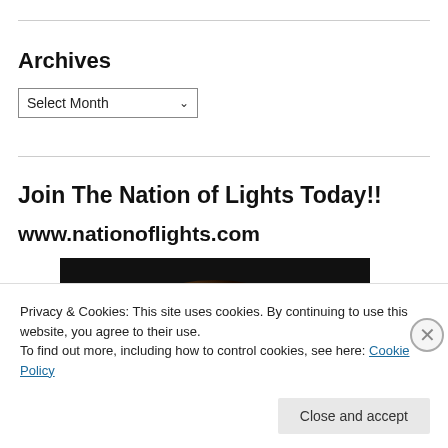Archives
Select Month
Join The Nation of Lights Today!!
www.nationoflights.com
[Figure (photo): Partial view of a glowing golden globe/orb against a dark background, cropped to show only the upper hemisphere.]
Privacy & Cookies: This site uses cookies. By continuing to use this website, you agree to their use.
To find out more, including how to control cookies, see here: Cookie Policy
Close and accept